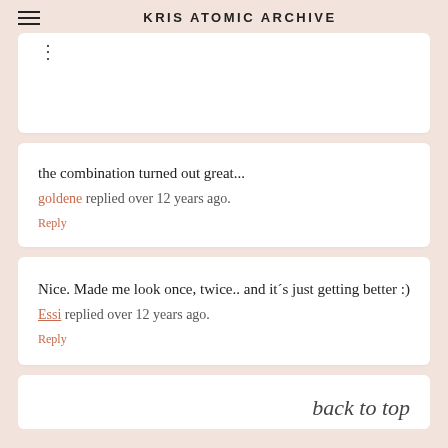KRIS ATOMIC ARCHIVE
⋮
the combination turned out great...
goldene replied over 12 years ago.
Reply
Nice. Made me look once, twice.. and it´s just getting better :)
Essi replied over 12 years ago.
Reply
back to top